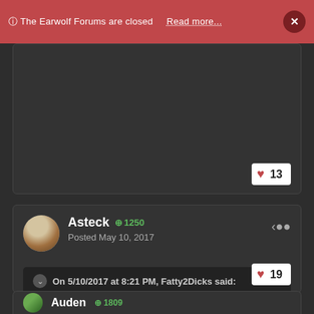The Earwolf Forums are closed  Read more...  ×
13 likes
Asteck  +1250  Posted May 10, 2017
On 5/10/2017 at 8:21 PM, Fatty2Dicks said: u guys never even thought to wonder "hmm why isnt Asteck posting here anymore he is always my favorite"
ftfy 😄 :lol: 😄
19 likes
Auden  +1809